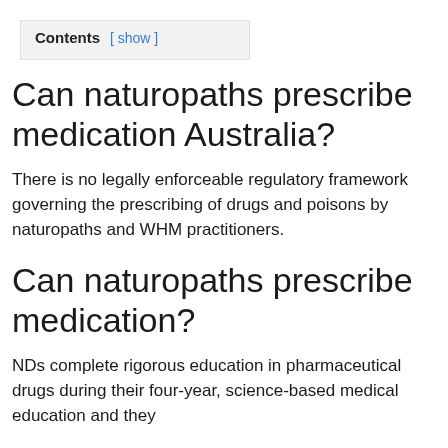Contents [ show ]
Can naturopaths prescribe medication Australia?
There is no legally enforceable regulatory framework governing the prescribing of drugs and poisons by naturopaths and WHM practitioners.
Can naturopaths prescribe medication?
NDs complete rigorous education in pharmaceutical drugs during their four-year, science-based medical education and they